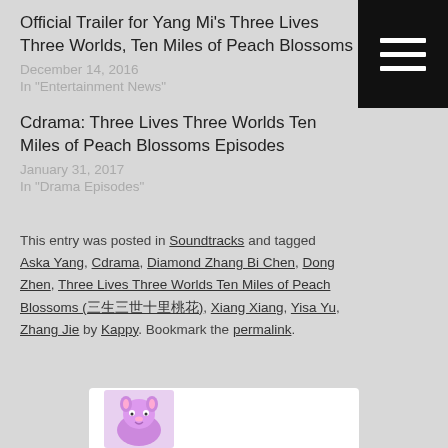[Figure (other): Hamburger menu button (three horizontal white lines on black background) in top-right corner]
Official Trailer for Yang Mi's Three Lives Three Worlds, Ten Miles of Peach Blossoms
December 14, 2016
In "Entertainment News"
Cdrama: Three Lives Three Worlds Ten Miles of Peach Blossoms Episodes
January 31, 2017
In "Drama Episodes"
This entry was posted in Soundtracks and tagged Aska Yang, Cdrama, Diamond Zhang Bi Chen, Dong Zhen, Three Lives Three Worlds Ten Miles of Peach Blossoms (三生三世十里桃花), Xiang Xiang, Yisa Yu, Zhang Jie by Kappy. Bookmark the permalink.
[Figure (illustration): Small avatar/profile image of a cartoon character (pink/purple animal) at the bottom of the page]